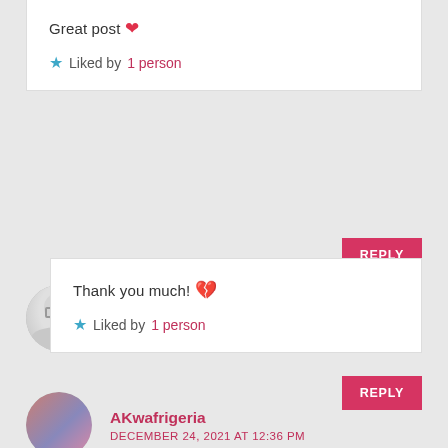Great post ❤
★ Liked by 1 person
REPLY
Letitgocoach
DECEMBER 24, 2021 AT 12:10 PM
Thank you much! 💔
★ Liked by 1 person
REPLY
AKwafrigeria
DECEMBER 24, 2021 AT 12:36 PM